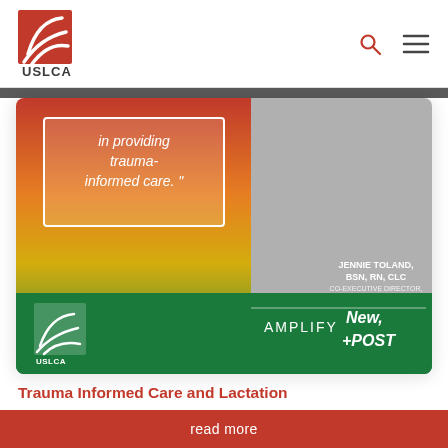[Figure (logo): USLCA logo — red square with white curved lines and USLCA text below]
[Figure (photo): Promotional image card showing text 'in providing trauma-informed care.' attributed to Jennie Toland, BSN, RN, CLC, Co-Executive Director, Kansas Breastfeeding Coalition. Bottom section is green with USLCA logo and text 'AMPLIFY New POST']
Trauma Informed Care and Lactation
By Jennie Toland, BSN, RN, CLC Let's start with a simple exercise by holding five fingers up. Now,...
read more